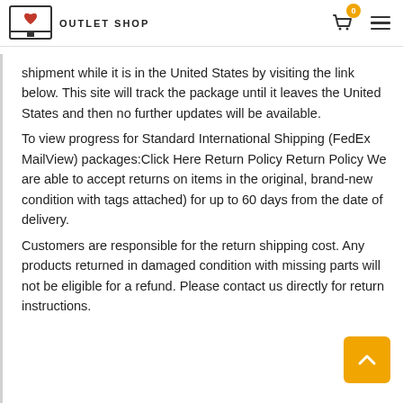OUTLET SHOP
shipment while it is in the United States by visiting the link below. This site will track the package until it leaves the United States and then no further updates will be available.
To view progress for Standard International Shipping (FedEx MailView) packages:Click Here Return Policy Return Policy We are able to accept returns on items in the original, brand-new condition with tags attached) for up to 60 days from the date of delivery.
Customers are responsible for the return shipping cost. Any products returned in damaged condition with missing parts will not be eligible for a refund. Please contact us directly for return instructions.